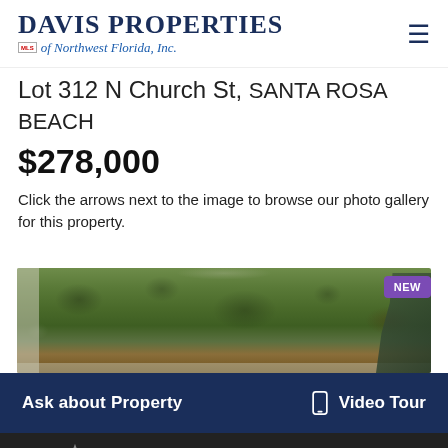[Figure (logo): Davis Properties of Northwest Florida, Inc. logo with MLS icon]
Lot 312 N Church St, SANTA ROSA BEACH
$278,000
Click the arrows next to the image to browse our photo gallery for this property.
[Figure (photo): Aerial view of wooded lot at 312 N Church St, Santa Rosa Beach]
NEW
Ask about Property
Video Tour
Navigation icons: star, share, print